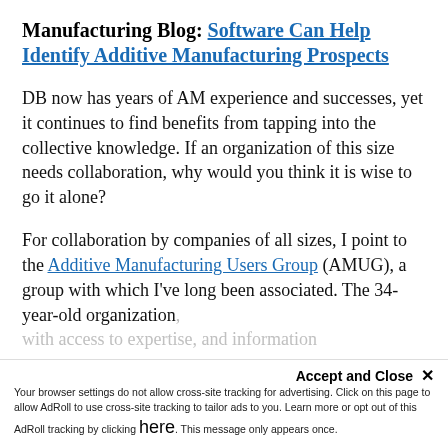Manufacturing Blog: Software Can Help Identify Additive Manufacturing Prospects
DB now has years of AM experience and successes, yet it continues to find benefits from tapping into the collective knowledge. If an organization of this size needs collaboration, why would you think it is wise to go it alone?
For collaboration by companies of all sizes, I point to the Additive Manufacturing Users Group (AMUG), a group with which I've long been associated. The 34-year-old organization
Accept and Close ✕ Your browser settings do not allow cross-site tracking for advertising. Click on this page to allow AdRoll to use cross-site tracking to tailor ads to you. Learn more or opt out of this AdRoll tracking by clicking here. This message only appears once.